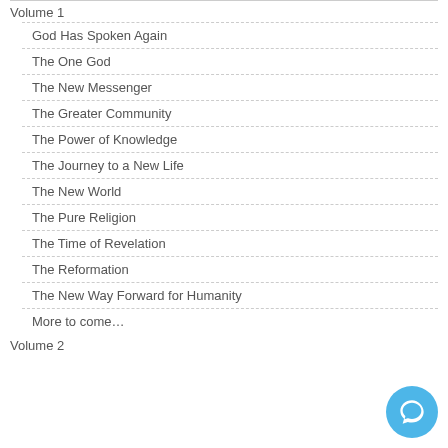Volume 1
God Has Spoken Again
The One God
The New Messenger
The Greater Community
The Power of Knowledge
The Journey to a New Life
The New World
The Pure Religion
The Time of Revelation
The Reformation
The New Way Forward for Humanity
More to come…
Volume 2